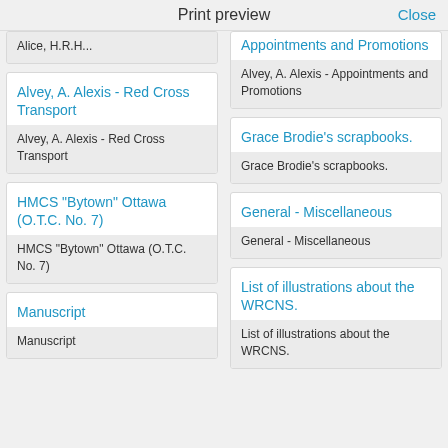Print preview   Close
Alice, H.R.H...
Alvey, A. Alexis - Red Cross Transport
Alvey, A. Alexis - Red Cross Transport
Appointments and Promotions
Alvey, A. Alexis - Appointments and Promotions
HMCS "Bytown" Ottawa (O.T.C. No. 7)
HMCS "Bytown" Ottawa (O.T.C. No. 7)
Grace Brodie's scrapbooks.
Grace Brodie's scrapbooks.
General - Miscellaneous
General - Miscellaneous
Manuscript
Manuscript
List of illustrations about the WRCNS.
List of illustrations about the WRCNS.